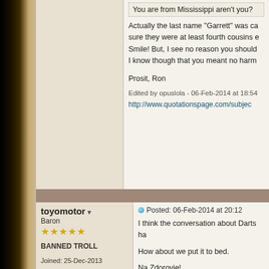You are from Mississippi aren't you?
Actually the last name "Garrett" was ca sure they were at least fourth cousins e Smile! But, I see no reason you should I know though that you meant no harm
Prosit, Ron
Edited by opuslola - 06-Feb-2014 at 18:54
http://www.quotationspage.com/subjec
toyomotor
Baron
BANNED TROLL
Joined: 25-Dec-2013
Online Status: Offline
Posts: 387
Posted: 06-Feb-2014 at 20:12
I think the conversation about Darts ha
How about we put it to bed.
Na Zdorovie!